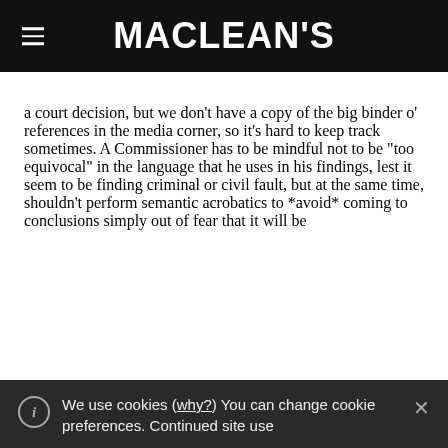MACLEAN'S
a court decision, but we don’t have a copy of the big binder o’ references in the media corner, so it’s hard to keep track sometimes. A Commissioner has to be mindful not to be “too equivocal” in the language that he uses in his findings, lest it seem to be finding criminal or civil fault, but at the same time, shouldn’t perform semantic acrobatics to *avoid* coming to conclusions simply out of fear that it will be
We use cookies (why?) You can change cookie preferences. Continued site use